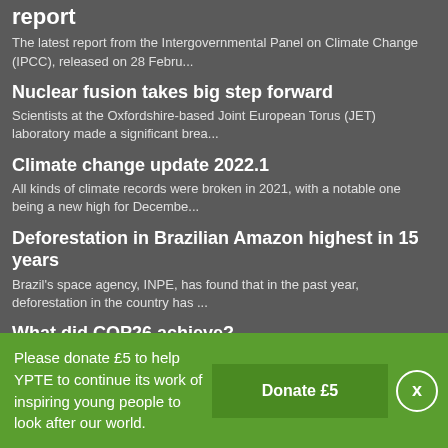report
The latest report from the Intergovernmental Panel on Climate Change (IPCC), released on 28 Febru...
Nuclear fusion takes big step forward
Scientists at the Oxfordshire-based Joint European Torus (JET) laboratory made a significant brea...
Climate change update 2022.1
All kinds of climate records were broken in 2021, with a notable one being a new high for Decembe...
Deforestation in Brazilian Amazon highest in 15 years
Brazil's space agency, INPE, has found that in the past year, deforestation in the country has ...
What did COP26 achieve?
It's now almost a week since COP26 ended and as the dust settles, it's time to take a look at wha...
Please donate £5 to help YPTE to continue its work of inspiring young people to look after our world.
Donate £5